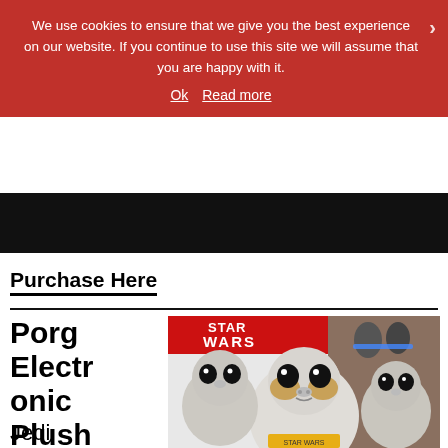We use cookies to ensure that we give you the best experience on our website. If you continue to use this site we will assume that you are happy with it. Ok  Read more
[Figure (photo): Star Wars Porg Electronic Plush toy product image showing multiple Porg characters with Star Wars branding]
Purchase Here
Porg Electronic Plush
Jedi